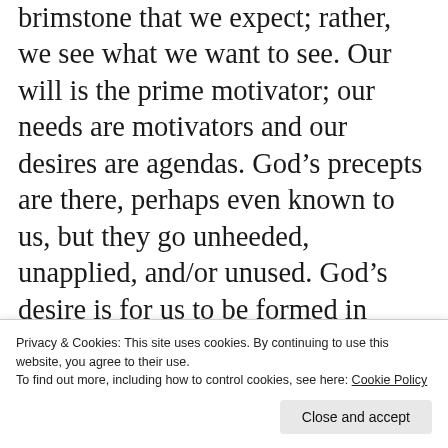brimstone that we expect; rather, we see what we want to see. Our will is the prime motivator; our needs are motivators and our desires are agendas. God’s precepts are there, perhaps even known to us, but they go unheeded, unapplied, and/or unused. God’s desire is for us to be formed in Jesus Christ, and in Him as Lord. Satan wants us to be centered on anything but that; he wants us disobedient and distorted to the things of God, and God wants us surrendered and dependant with faith upon Him. This is the battle, where the line is drawn
Privacy & Cookies: This site uses cookies. By continuing to use this website, you agree to their use.
To find out more, including how to control cookies, see here: Cookie Policy
Close and accept